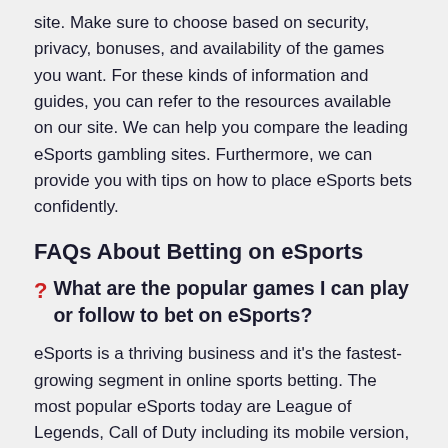site. Make sure to choose based on security, privacy, bonuses, and availability of the games you want. For these kinds of information and guides, you can refer to the resources available on our site. We can help you compare the leading eSports gambling sites. Furthermore, we can provide you with tips on how to place eSports bets confidently.
FAQs About Betting on eSports
? What are the popular games I can play or follow to bet on eSports?
eSports is a thriving business and it's the fastest-growing segment in online sports betting. The most popular eSports today are League of Legends, Call of Duty including its mobile version, Counter-Strike, and the Defense of the Ancients or Dota 2.